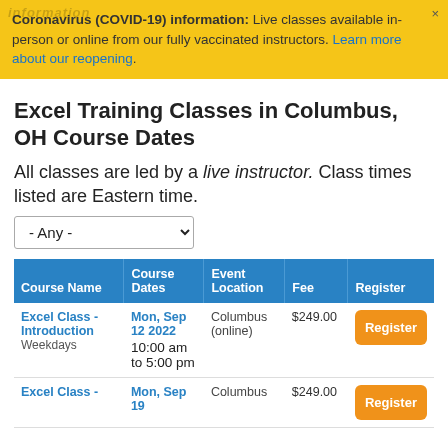Coronavirus (COVID-19) information: Live classes available in-person or online from our fully vaccinated instructors. Learn more about our reopening.
Excel Training Classes in Columbus, OH Course Dates
All classes are led by a live instructor. Class times listed are Eastern time.
| Course Name | Course Dates | Event Location | Fee | Register |
| --- | --- | --- | --- | --- |
| Excel Class - Introduction
Weekdays | Mon, Sep 12 2022
10:00 am to 5:00 pm | Columbus (online) | $249.00 | Register |
| Excel Class - | Mon, Sep 19 | Columbus | $249.00 | Register |